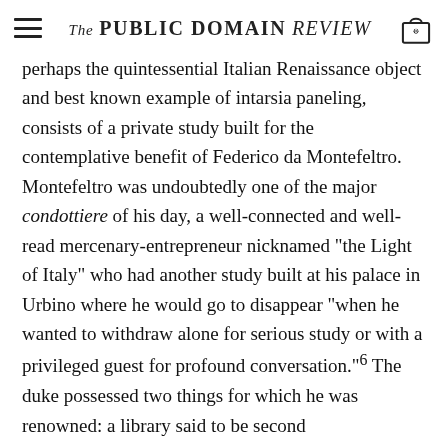The PUBLIC DOMAIN REVIEW
perhaps the quintessential Italian Renaissance object and best known example of intarsia paneling, consists of a private study built for the contemplative benefit of Federico da Montefeltro. Montefeltro was undoubtedly one of the major condottiere of his day, a well-connected and well-read mercenary-entrepreneur nicknamed “the Light of Italy” who had another study built at his palace in Urbino where he would go to disappear “when he wanted to withdraw alone for serious study or with a privileged guest for profound conversation.”⁶ The duke possessed two things for which he was renowned: a library said to be second